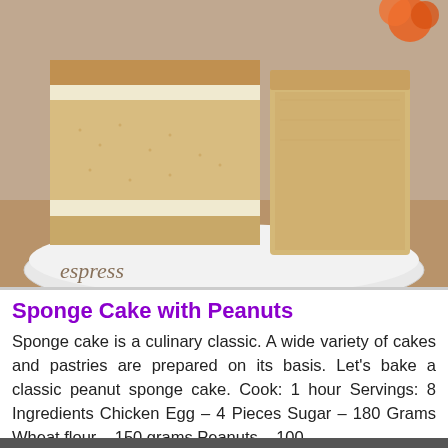[Figure (photo): A peanut sponge cake sliced on a white plate. The golden-brown layered cake has white cream filling visible between slices. There are flowers in the background and a tablecloth reading 'espress' visible.]
Sponge Cake with Peanuts
Sponge cake is a culinary classic. A wide variety of cakes and pastries are prepared on its basis. Let's bake a classic peanut sponge cake. Cook: 1 hour Servings: 8 Ingredients Chicken Egg – 4 Pieces Sugar – 180 Grams Wheat flour – 150 grams Peanuts – 100...